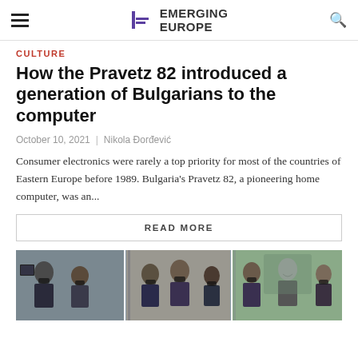Emerging Europe
CULTURE
How the Pravetz 82 introduced a generation of Bulgarians to the computer
October 10, 2021 | Nikola Đorđević
Consumer electronics were rarely a top priority for most of the countries of Eastern Europe before 1989. Bulgaria's Pravetz 82, a pioneering home computer, was an...
READ MORE
[Figure (photo): Group of people wearing face masks at what appears to be a formal meeting or summit, shown in three panels side by side]